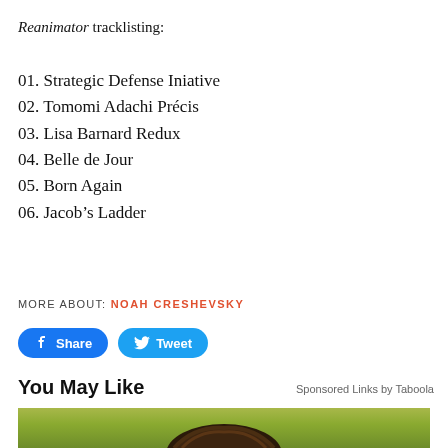Reanimator tracklisting:
01. Strategic Defense Iniative
02. Tomomi Adachi Précis
03. Lisa Barnard Redux
04. Belle de Jour
05. Born Again
06. Jacob's Ladder
MORE ABOUT: NOAH CRESHEVSKY
[Figure (other): Facebook Share and Twitter Tweet social sharing buttons]
You May Like
Sponsored Links by Taboola
[Figure (photo): Photo of a person outdoors in a field with yellow flowers, blurred background]